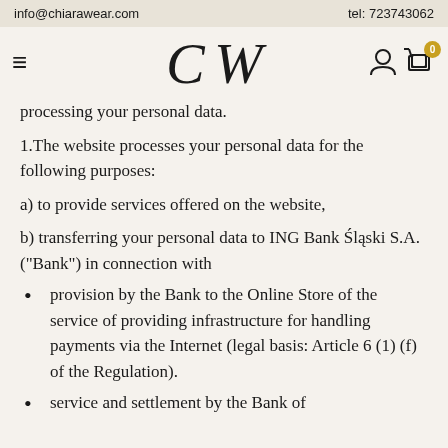info@chiarawear.com	tel: 723743062
[Figure (logo): CW logo - stylized letters C and W in serif italic font, navigation bar with hamburger menu, user icon, and cart icon with 0 badge]
processing your personal data.
1.The website processes your personal data for the following purposes:
a) to provide services offered on the website,
b) transferring your personal data to ING Bank Śląski S.A. ("Bank") in connection with
provision by the Bank to the Online Store of the service of providing infrastructure for handling payments via the Internet (legal basis: Article 6 (1) (f) of the Regulation).
service and settlement by the Bank of